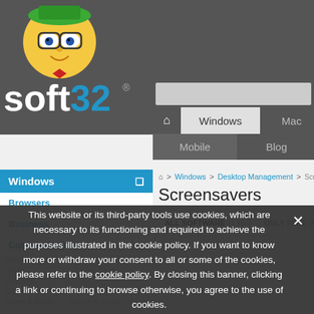[Figure (logo): Soft32 website logo with cartoon character wearing green hat and glasses]
Windows | Mac | Mobile | Blog navigation tabs
Windows sidebar navigation with links: Browsers, Business, Communication
Screensavers
ALL SOFTWARE (1.953) | ONLY FREE (822)
This website or its third-party tools use cookies, which are necessary to its functioning and required to achieve the purposes illustrated in the cookie policy. If you want to know more or withdraw your consent to all or some of the cookies, please refer to the cookie policy. By closing this banner, clicking a link or continuing to browse otherwise, you agree to the use of cookies.